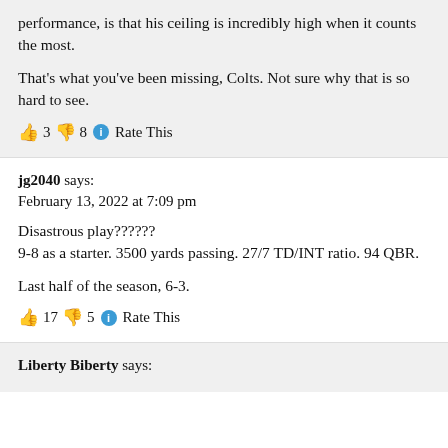performance, is that his ceiling is incredibly high when it counts the most.
That's what you've been missing, Colts. Not sure why that is so hard to see.
👍 3 👎 8 ℹ Rate This
jg2040 says:
February 13, 2022 at 7:09 pm
Disastrous play??????
9-8 as a starter. 3500 yards passing. 27/7 TD/INT ratio. 94 QBR.
Last half of the season, 6-3.
👍 17 👎 5 ℹ Rate This
Liberty Biberty says: